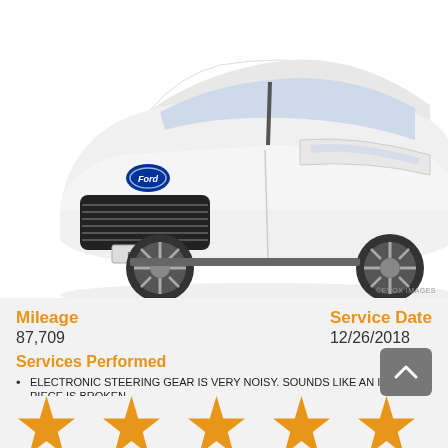[Figure (photo): Front three-quarter view of a white Ford Explorer SUV on a white background]
©EVOX IMAGES
Mileage
87,709
Service Date
12/26/2018
Services Performed
ELECTRONIC STEERING GEAR IS VERY NOISY. SOUNDS LIKE AN INTERNAL PIECE IS BROKEN.
ELECTRONIC STEERING GEAR ASSEMBLY – Remove and Replace – Base,Limited,XLT – [Includes: Lowering Subframe. DOES NOT include wheel alignment.]
ALIGNMENT
[Figure (other): Five gold/orange star rating icons partially visible at bottom of page]